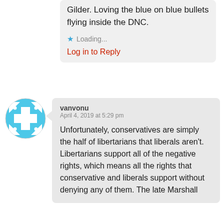Gilder. Loving the blue on blue bullets flying inside the DNC.
Loading...
Log in to Reply
[Figure (illustration): Circular avatar with blue and white geometric pattern (dice-like design)]
vanvonu
April 4, 2019 at 5:29 pm
Unfortunately, conservatives are simply the half of libertarians that liberals aren't. Libertarians support all of the negative rights, which means all the rights that conservative and liberals support without denying any of them. The late Marshall